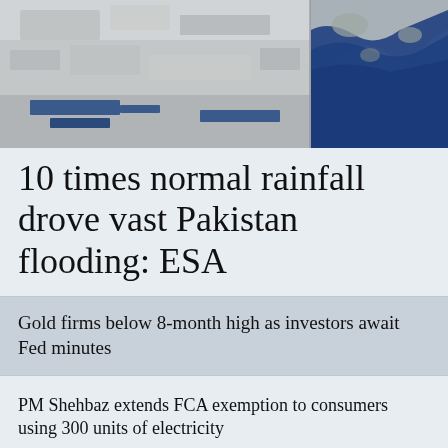[Figure (photo): Satellite image showing Pakistan flood extent — left panel shows pre-flood state in grey/white tones, right panel shows flooded areas with bright blue water covering large region]
10 times normal rainfall drove vast Pakistan flooding: ESA
Gold firms below 8-month high as investors await Fed minutes
PM Shehbaz extends FCA exemption to consumers using 300 units of electricity
No proposal under consideration to import vegetables from India: FO
Alarming level: SBP-held foreign exchange